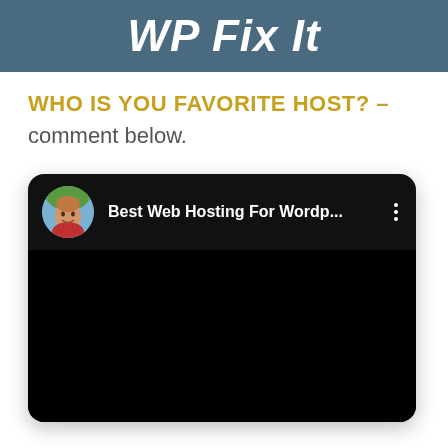WP Fix It
WHO IS YOU FAVORITE HOST? – comment below.
[Figure (screenshot): YouTube video card on black background showing a circular avatar of a man outdoors, with title 'Best Web Hosting For Wordp...' and a three-dot menu icon on the right]